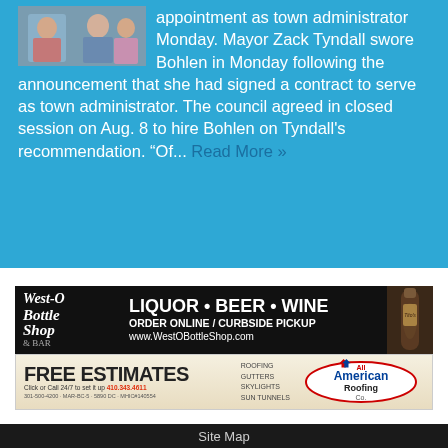[Figure (photo): Small photo of people at top left of blue section]
appointment as town administrator Monday. Mayor Zack Tyndall swore Bohlen in Monday following the announcement that she had signed a contract to serve as town administrator. The council agreed in closed session on Aug. 8 to hire Bohlen on Tyndall's recommendation. “Of... Read More »
[Figure (photo): West-O Bottle Shop & Bar advertisement: LIQUOR • BEER • WINE, ORDER ONLINE / CURBSIDE PICKUP, www.WestOBottleShop.com]
[Figure (photo): All American Roofing Co. advertisement: FREE ESTIMATES, ROOFING GUTTERS SKYLIGHTS SUN TUNNELS, Click or Call 24/7 to set it up 410.343.4611]
Site Map